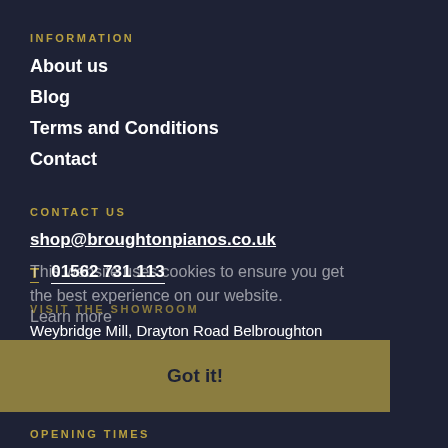INFORMATION
About us
Blog
Terms and Conditions
Contact
CONTACT US
shop@broughtonpianos.co.uk
T  01562 731 113
VISIT THE SHOWROOM
Weybridge Mill, Drayton Road Belbroughton DY9 0DN
Find us on Google
This website uses cookies to ensure you get the best experience on our website. Learn more
Got it!
OPENING TIMES